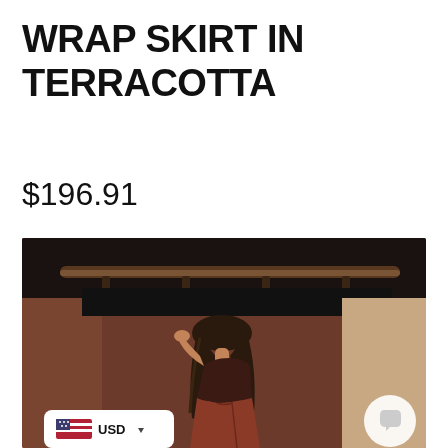WRAP SKIRT IN TERRACOTTA
$196.91
[Figure (photo): A woman wearing a terracotta wrap skirt, posing in front of a dark brown/terracotta background with a clothing rack visible overhead. She has long brown hair and is turned slightly to the side with one hand raised near her face.]
USD